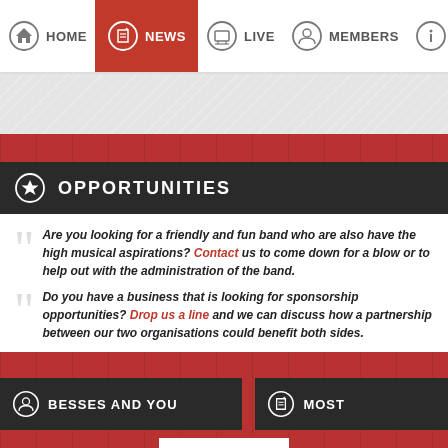HOME | NEWS | LIVE | MEMBERS
OPPORTUNITIES
Are you looking for a friendly and fun band who are also have the high musical aspirations? Contact us to come down for a blow or to help out with the administration of the band.
Do you have a business that is looking for sponsorship opportunities? Drop us a line and we can discuss how a partnership between our two organisations could benefit both sides.
BESSES AND YOU
MOST
GO TO TOP